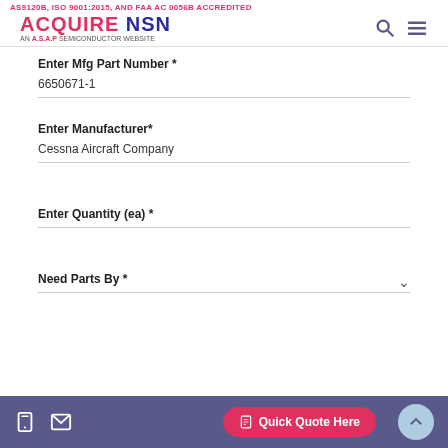AS9120B, ISO 9001:2015, AND FAA AC 0056B ACCREDITED
ACQUIRE NSN - AN A.S.A.P SEMICONDUCTOR WEBSITE
Enter Mfg Part Number *
6650671-1
Enter Manufacturer*
Cessna Aircraft Company
Enter Quantity (ea) *
Need Parts By *
Quick Quote Here